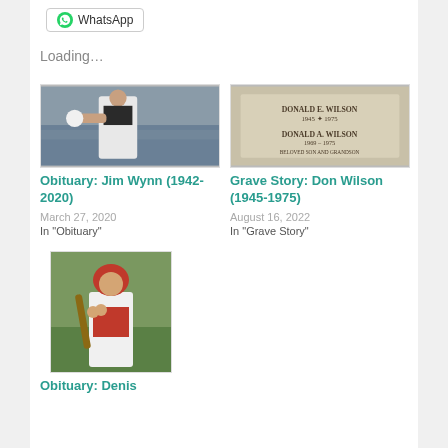[Figure (other): WhatsApp share button with green WhatsApp logo icon]
Loading...
[Figure (photo): Baseball player in white uniform being congratulated or interacting with another person, stadium crowd in background]
Obituary: Jim Wynn (1942-2020)
March 27, 2020
In "Obituary"
[Figure (photo): Gravestone or memorial marker reading DONALD E. WILSON 1945-1975 and DONALD A. WILSON 1969-1975 BELOVED SON AND GRANDSON]
Grave Story: Don Wilson (1945-1975)
August 16, 2022
In "Grave Story"
[Figure (photo): Baseball player in red and white uniform holding a bat, standing on a field]
Obituary: Denis